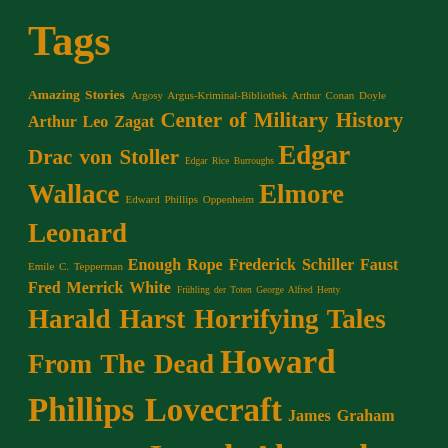Tags
Amazing Stories Argosy Argus-Kriminal-Bibliothek Arthur Conan Doyle Arthur Leo Zagat Center of Military History Drac von Stoller Edgar Rice Burroughs Edgar Wallace Edward Phillips Oppenheim Elmore Leonard Emile C. Tepperman Enough Rope Frederick Schiller Faust Fred Merrick White Frühling der Toten George Alfred Henty Harald Harst Horrifying Tales From The Dead Howard Phillips Lovecraft James Graham Ballard John Aysa Joseph Alexander Altsheler Jules Verne Karl May Lawrence Block Louis Dearborn LaMoore Louis L'Amour Max Brand Max Schraut New Worlds Prequel Rex Stout Robert Ervin Howard Robert Kraft Stephen King The Strand Magazine Tom Clancy Vergiss mein nicht W. Belka Walther Kabel ...